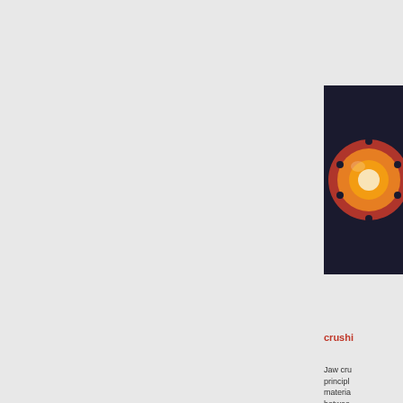[Figure (photo): Close-up photo of industrial crushing/grinding machine component showing orange, red and yellow circular parts against dark background]
crushi
Jaw cru principle materia betwee crusher , In con principl process ....
[Figure (photo): Partial photo of industrial equipment with red and blue components]